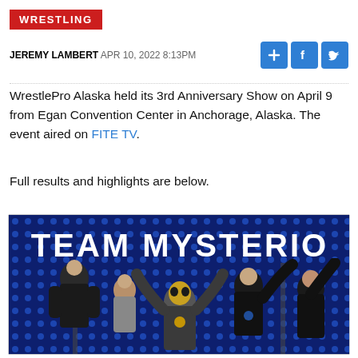WRESTLING
JEREMY LAMBERT  APR 10, 2022 8:13PM
WrestlePro Alaska held its 3rd Anniversary Show on April 9 from Egan Convention Center in Anchorage, Alaska. The event aired on FITE TV.
Full results and highlights are below.
[Figure (photo): Team Mysterio photo showing five people celebrating on a game show set with 'TEAM MYSTERIO' text on a blue LED backdrop. One person wears a lucha libre mask.]